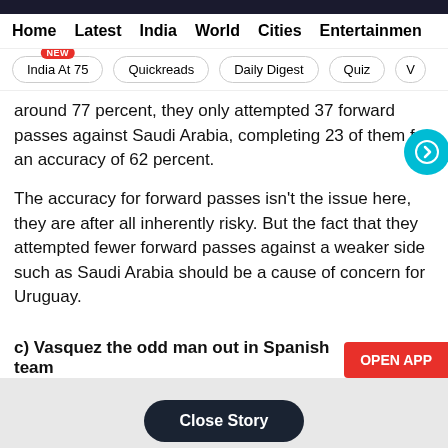Home | Latest | India | World | Cities | Entertainment
India At 75 (NEW) | Quickreads | Daily Digest | Quiz
around 77 percent, they only attempted 37 forward passes against Saudi Arabia, completing 23 of them for an accuracy of 62 percent.
The accuracy for forward passes isn't the issue here, they are after all inherently risky. But the fact that they attempted fewer forward passes against a weaker side such as Saudi Arabia should be a cause of concern for Uruguay.
c) Vasquez the odd man out in Spanish team